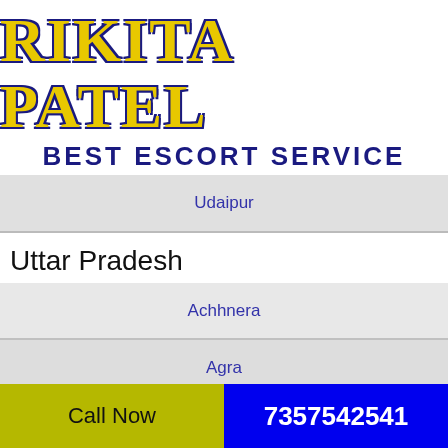[Figure (logo): Rikita Patel Best Escort Service logo with gold stylized name and dark blue subtitle]
Udaipur
Uttar Pradesh
Achhnera
Agra
Aligarh
Allahabad
Amroha
Call Now   7357542541